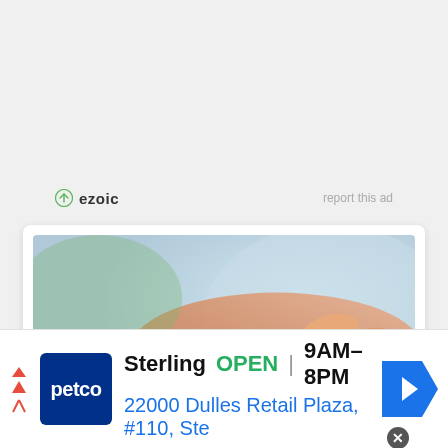[Figure (logo): Ezoic logo with green circle icon and bold text 'ezoic', with 'report this ad' link on the right]
[Figure (photo): Close-up photo of acupuncture treatment on a hand/wrist area with red highlight indicating pain point, one hand holding another with a needle inserted]
[Figure (infographic): Petco advertisement banner showing Petco logo, Sterling location, OPEN status, hours 9AM-8PM, address 22000 Dulles Retail Plaza #110 Ste, navigation arrow icon]